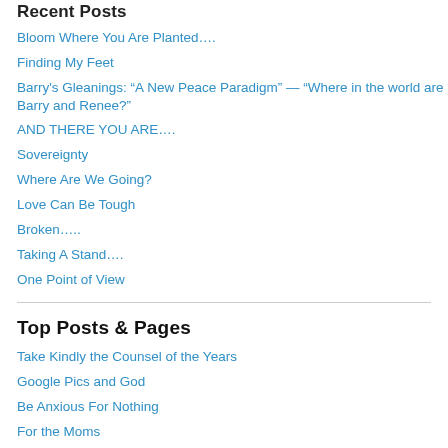Recent Posts
Bloom Where You Are Planted….
Finding My Feet
Barry's Gleanings: “A New Peace Paradigm” — “Where in the world are Barry and Renee?”
AND THERE YOU ARE….
Sovereignty
Where Are We Going?
Love Can Be Tough
Broken…..
Taking A Stand….
One Point of View
Top Posts & Pages
Take Kindly the Counsel of the Years
Google Pics and God
Be Anxious For Nothing
For the Moms